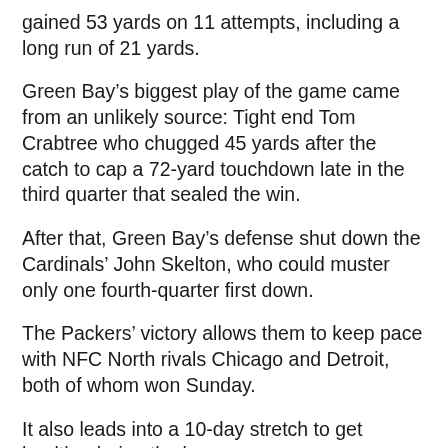gained 53 yards on 11 attempts, including a long run of 21 yards.
Green Bay's biggest play of the game came from an unlikely source: Tight end Tom Crabtree who chugged 45 yards after the catch to cap a 72-yard touchdown late in the third quarter that sealed the win.
After that, Green Bay's defense shut down the Cardinals' John Skelton, who could muster only one fourth-quarter first down.
The Packers' victory allows them to keep pace with NFC North rivals Chicago and Detroit, both of whom won Sunday.
It also leads into a 10-day stretch to get healthy during the bye.
“We need to get healthy, that’s what bye weeks are for,” McCarthy said. “We’re 6-3 and we’ve got time to evaluate, step back, clean some things up and get ready for the grind.”
Offensively, the Packers await receiver Greg Jennings’ return from